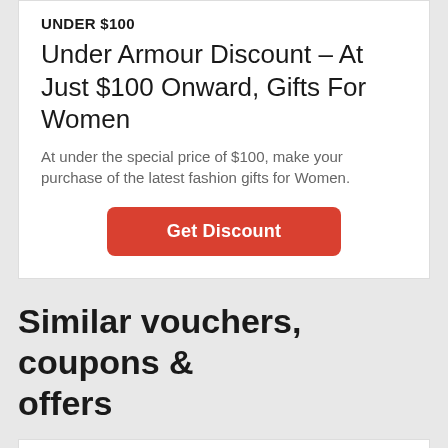UNDER $100
Under Armour Discount – At Just $100 Onward, Gifts For Women
At under the special price of $100, make your purchase of the latest fashion gifts for Women.
Get Discount
Similar vouchers, coupons & offers
70% OFF
Pomelo Fashion Discount – Get Up To